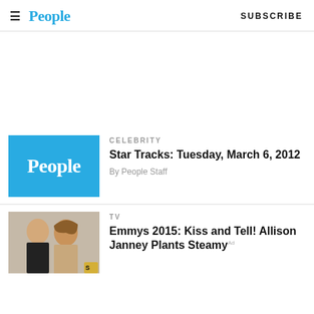People  SUBSCRIBE
[Figure (screenshot): People magazine logo on blue background thumbnail]
CELEBRITY
Star Tracks: Tuesday, March 6, 2012
By People Staff
[Figure (photo): Photo of two people at Emmys 2015]
TV
Emmys 2015: Kiss and Tell! Allison Janney Plants Steamy